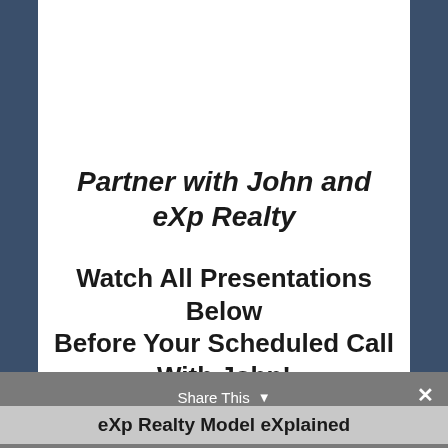Partner with John and eXp Realty
Watch All Presentations Below Before Your Scheduled Call With John!
Share This  ×  eXp Realty Model eXplained